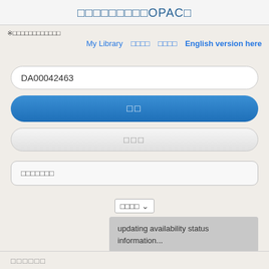□□□□□□□□□OPAC□
※□□□□□□□□□□□□
My Library □□□□ □□□□ English version here
DA00042463
□□
□□□
□□□□□□□
□□□□ ▼
updating availability status information...
□□□□□□